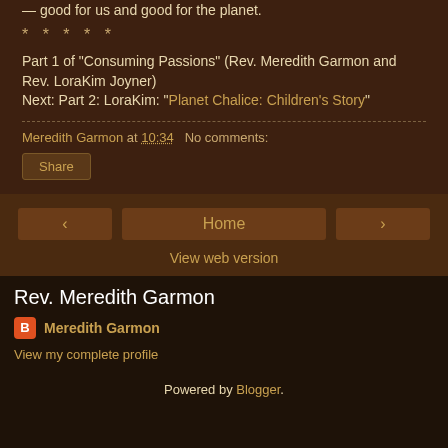— good for us and good for the planet.
* * * * *
Part 1 of "Consuming Passions" (Rev. Meredith Garmon and Rev. LoraKim Joyner)
Next: Part 2: LoraKim: "Planet Chalice: Children's Story"
Meredith Garmon at 10:34   No comments:
Share
‹   Home   ›
View web version
Rev. Meredith Garmon
Meredith Garmon
View my complete profile
Powered by Blogger.